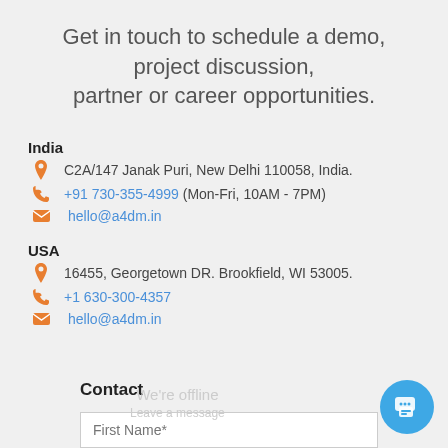Get in touch to schedule a demo, project discussion, partner or career opportunities.
India
C2A/147 Janak Puri, New Delhi 110058, India.
+91 730-355-4999 (Mon-Fri, 10AM - 7PM)
hello@a4dm.in
USA
16455, Georgetown DR. Brookfield, WI 53005.
+1 630-300-4357
hello@a4dm.in
Contact
We're offline
Leave a message
First Name*